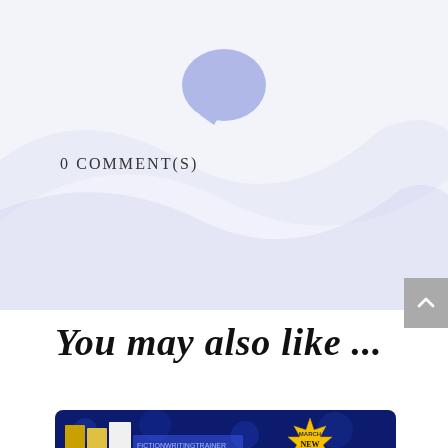[Figure (illustration): Light purple speech bubble / chat icon centered at top of page, above a decorative blue-lavender wave background]
0 COMMENT(S)
[Figure (illustration): Gray scroll-to-top button with upward caret arrow on the right edge]
You may also like ...
[Figure (photo): Book promotion banner with blue bokeh background showing book spines (STORY, PLOT, PLOT), text HOW TO, and a gold starburst badge reading MARCH NEW RELEASE!]